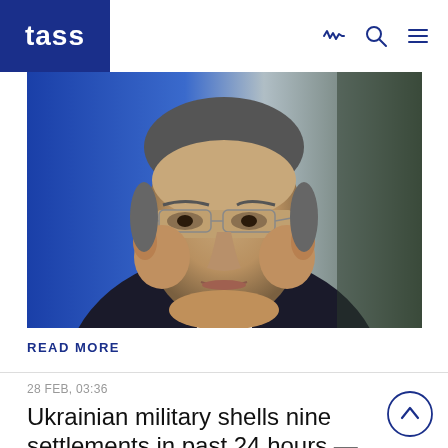TASS
[Figure (photo): Close-up portrait of an older man in a dark suit and grey tie, wearing glasses, with a blue background, looking serious.]
READ MORE
28 FEB, 03:36
Ukrainian military shells nine settlements in past 24 hours — LPR mission